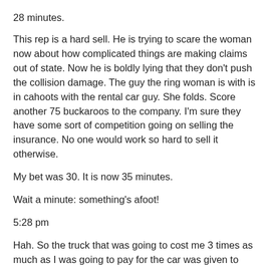28 minutes.
This rep is a hard sell. He is trying to scare the woman now about how complicated things are making claims out of state. Now he is boldly lying that they don't push the collision damage. The guy the ring woman is with is in cahoots with the rental car guy. She folds. Score another 75 buckaroos to the company. I'm sure they have some sort of competition going on selling the insurance. No one would work so hard to sell it otherwise.
My bet was 30. It is now 35 minutes.
Wait a minute: something's afoot!
5:28 pm
Hah. So the truck that was going to cost me 3 times as much as I was going to pay for the car was given to me. They called it a free upgrade. Patience pays off: you see. Well that and typing away in their waiting room. Apparently the 35